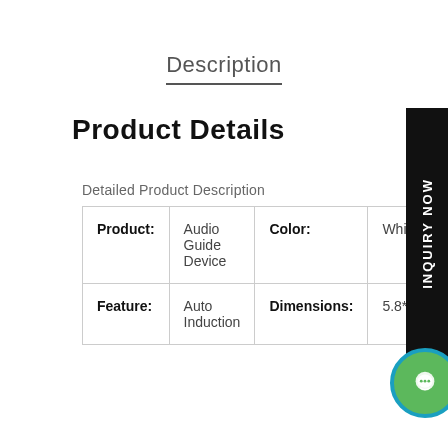Description
Product Details
Detailed Product Description
| Product: | Audio Guide Device | Color: | White |
| --- | --- | --- | --- |
| Feature: | Auto Induction | Dimensions: | 5.8*7.5*1... |